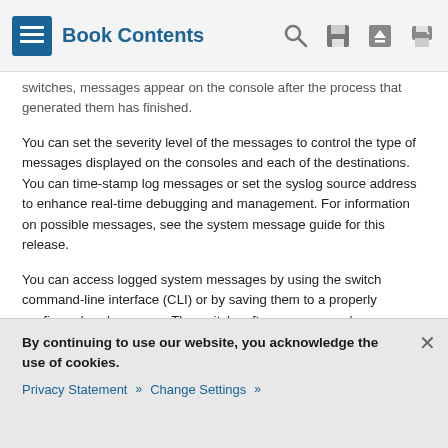Book Contents
switches, messages appear on the console after the process that generated them has finished.
You can set the severity level of the messages to control the type of messages displayed on the consoles and each of the destinations. You can time-stamp log messages or set the syslog source address to enhance real-time debugging and management. For information on possible messages, see the system message guide for this release.
You can access logged system messages by using the switch command-line interface (CLI) or by saving them to a properly configured syslog server. The switch software saves syslog messages in an internal buffer on a standalone switch, and in the case of a switch stack, on the stack master. If a standalone switch or the stack master fails, the log is lost unless you had
By continuing to use our website, you acknowledge the use of cookies.
Privacy Statement > Change Settings >